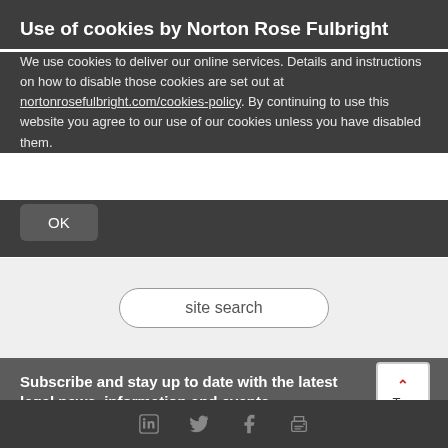Use of cookies by Norton Rose Fulbright
We use cookies to deliver our online services. Details and instructions on how to disable those cookies are set out at nortonrosefulbright.com/cookies-policy. By continuing to use this website you agree to our use of our cookies unless you have disabled them.
OK
site search
Subscribe and stay up to date with the latest legal news, information and events...
Register now
Top
[Figure (other): Social media and print icons: LinkedIn, Twitter, Facebook, Print]